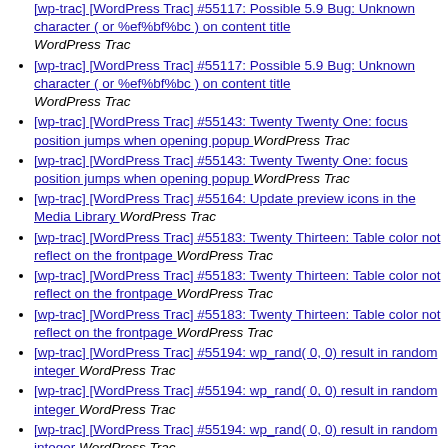[wp-trac] [WordPress Trac] #55117: Possible 5.9 Bug: Unknown character ( or %ef%bf%bc ) on content title — WordPress Trac
[wp-trac] [WordPress Trac] #55117: Possible 5.9 Bug: Unknown character ( or %ef%bf%bc ) on content title — WordPress Trac
[wp-trac] [WordPress Trac] #55143: Twenty Twenty One: focus position jumps when opening popup — WordPress Trac
[wp-trac] [WordPress Trac] #55143: Twenty Twenty One: focus position jumps when opening popup — WordPress Trac
[wp-trac] [WordPress Trac] #55164: Update preview icons in the Media Library — WordPress Trac
[wp-trac] [WordPress Trac] #55183: Twenty Thirteen: Table color not reflect on the frontpage — WordPress Trac
[wp-trac] [WordPress Trac] #55183: Twenty Thirteen: Table color not reflect on the frontpage — WordPress Trac
[wp-trac] [WordPress Trac] #55183: Twenty Thirteen: Table color not reflect on the frontpage — WordPress Trac
[wp-trac] [WordPress Trac] #55194: wp_rand( 0, 0) result in random integer — WordPress Trac
[wp-trac] [WordPress Trac] #55194: wp_rand( 0, 0) result in random integer — WordPress Trac
[wp-trac] [WordPress Trac] #55194: wp_rand( 0, 0) result in random integer — WordPress Trac
[wp-trac] [WordPress Trac] #55194: wp_rand( 0, 0) result in random integer — WordPress Trac